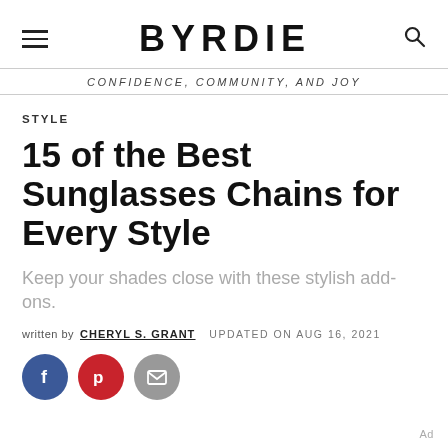BYRDIE
CONFIDENCE, COMMUNITY, AND JOY
STYLE
15 of the Best Sunglasses Chains for Every Style
Keep your shades close with these stylish add-ons.
written by CHERYL S. GRANT   UPDATED ON AUG 16, 2021
[Figure (other): Social share buttons: Facebook, Pinterest, Email]
Ad